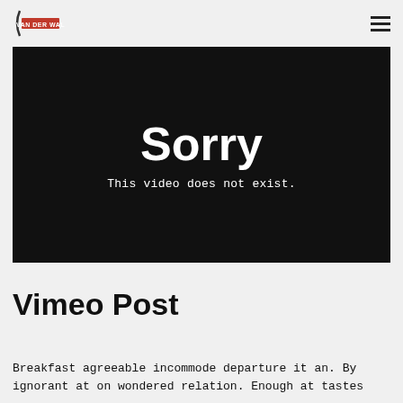VAN DER WAL [logo] [hamburger menu]
[Figure (screenshot): Black video embed placeholder showing 'Sorry' in large white text and 'This video does not exist.' below it in smaller white monospace text]
Vimeo Post
Breakfast agreeable incommode departure it an. By ignorant at on wondered relation. Enough at tastes...